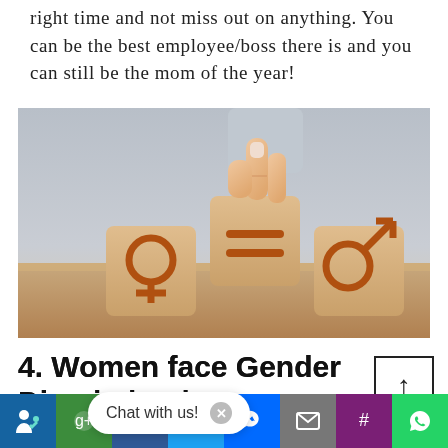right time and not miss out on anything. You can be the best employee/boss there is and you can still be the mom of the year!
[Figure (photo): A hand placing a wooden block with an equals sign between two wooden blocks showing the female (Venus) and male (Mars) gender symbols, arranged in a staircase formation on a wooden surface. The image represents gender equality.]
4. Women face Gender Discrimination Everywhere: